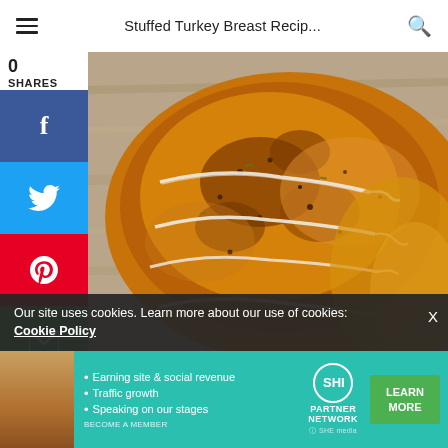Stuffed Turkey Breast Recip...
[Figure (photo): A roasted stuffed turkey breast tied with kitchen twine, golden-brown and seasoned, on a wooden cutting board surface.]
0
SHARES
f (Facebook share button)
Twitter share button
Pinterest share button
Email share button
Our site uses cookies. Learn more about our use of cookies: Cookie Policy
[Figure (infographic): SHE Partner Network advertisement banner: woman's photo on left, bullet points 'Earning site & social revenue', 'Traffic growth', 'Speaking on our stages', SHE logo, LEARN MORE green button, BECOME A MEMBER text.]